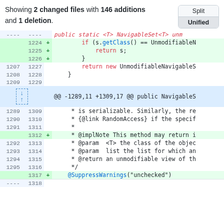Showing 2 changed files with 146 additions and 1 deletion.
[Figure (screenshot): GitHub diff view showing Split and Unified buttons]
| old | new | sign | code |
| --- | --- | --- | --- |
|  |  |  | public static <T> NavigableSet<T> unm... |
|  | 1224 | + |     if (s.getClass() == UnmodifiableN... |
|  | 1225 | + |         return s; |
|  | 1226 | + |     } |
| 1207 | 1227 |  |     return new UnmodifiableNavigableS... |
| 1208 | 1228 |  | } |
| 1209 | 1229 |  |  |
|  |  |  | @@ -1289,11 +1309,17 @@ public NavigableS... |
| 1289 | 1309 |  | * is serializable. Similarly, the re... |
| 1290 | 1310 |  | * {@link RandomAccess} if the specif... |
| 1291 | 1311 |  | * |
|  | 1312 | + | * @implNote This method may return i... |
| 1292 | 1313 |  | * @param  <T> the class of the objec... |
| 1293 | 1314 |  | * @param  list the list for which an... |
| 1294 | 1315 |  | * @return an unmodifiable view of th... |
| 1295 | 1316 |  | */ |
|  | 1317 | + | @SuppressWarnings("unchecked") |
| 1296 | 1318 |  | ... |